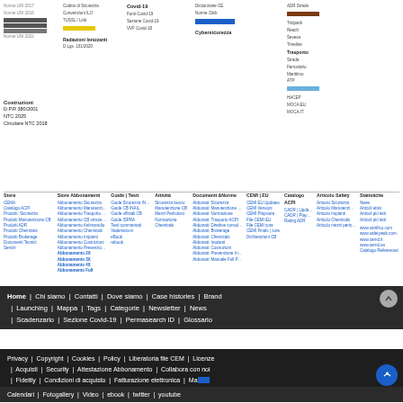Top navigation columns with Covid-19, Radiazioni Ionizzanti, Cybersicurezza, Trasporto, and other categories with colored bars
Costruzioni: D.P.R 380/2001, NTC 2025, Circolare NTC 2018
Store | CEMA, Catalogo ACPI, Prodotti: Sicurezza, Prodotti Manutenzione CB, Prodotti ADR, Prodotti Chemicals, Prodotti Brokerage, Documenti Tecnici, Servizi
Store Abbonamenti | Abbonamento Sicurezza, Abbonamento Manutenzione CB, Abbonamento Trasporto ACPI, Abbonamento Antincendio, Abbonamento Chemicals, Abbonamento Impianti, Abbonamento Costruzioni, Abbonamento Prevenzione Incendi, Abbonamento 2X, Abbonamento 3X, Abbonamento 4X, Abbonamento Full
Guide | Testi | Guide Sicurezza INAIL, Guide CB INAIL, Guide ufficiali CB, Guide ISPRA, Testi commentati, Vademecum, eBook, rebook
Attività | Sicurezza lavoro, Manutenzione CB, Mezzi Pericolosi, Normazione, Chemicals
Documenti &Norme | Abbonati: Sicurezza, Abbonati: Manutenzione CB, Abbonati: Normazione, Abbonati: Trasporto ACPI, Abbonati: Direttive consultori, Abbonati: Brokerage, Abbonati: Chemicals, Abbonati: Impianti, Abbonati: Costruzioni, Abbonati: Prevenzione Incendi, Abbonati: Manuale Full Plus
CEMI | EU | CEMI EU Updates, CEMI Versioni, CEMI Playstore, File CEMI EU, File CEMI core, CEMI Finals core, Dichiarazioni CB
Catalogo ACPI | CADR Updates, CADR Playgroup, Rating ADR
Articolo Safety | Articolo Sicurezza, Articolo Manutenzione CB, Articolo Impianti, Articolo Chemicals, Articolo mezzi pericolosi
Sito | www.certifico.com, www.safetyweb.com, www.cernd.it, www.cernd.eu, Catalogo Referenced
Home | Chi siamo | Contatti | Dove siamo | Case histories | Brand | Launching | Mappa | Tags | Categorie | Newsletter | News | Scadenzario | Sezione Covid-19 | Permasearch ID | Glossario
Privacy | Copyright | Cookies | Policy | Liberatoria file CEM | Licenze | Acquisti | Security | Attestazione Abbonamento | Collabora con noi | Fidelity | Condizioni di acquisto | Fatturazione elettronica | Manuale
Calendari | Fotogallery | Video | ebook | twitter | youtube